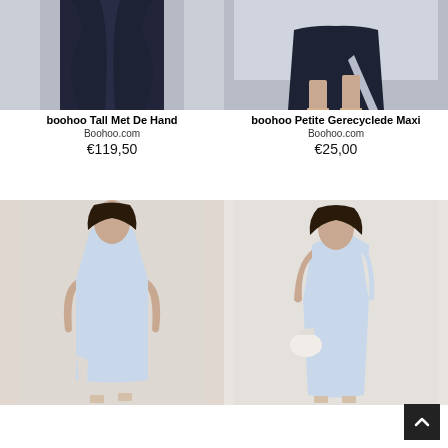[Figure (photo): Model wearing a dark navy/black long maxi dress with flowing fabric, photographed from chest down]
boohoo Tall Met De Hand
Boohoo.com
€119,50
[Figure (photo): Model showing lower body in dark navy maxi skirt with high slit, wearing clear heels]
boohoo Petite Gerecyclede Maxi
Boohoo.com
€25,00
[Figure (photo): Model wearing a light blue plunge neck sleeveless maxi dress with slit]
[Figure (photo): Model wearing a light blue one-shoulder midi bodycon dress, holding a white bag]